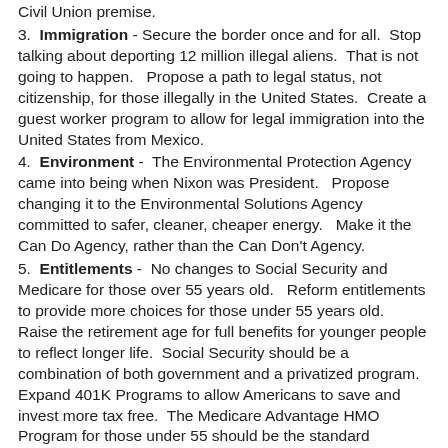Civil Union premise.
3. Immigration - Secure the border once and for all. Stop talking about deporting 12 million illegal aliens. That is not going to happen. Propose a path to legal status, not citizenship, for those illegally in the United States. Create a guest worker program to allow for legal immigration into the United States from Mexico.
4. Environment - The Environmental Protection Agency came into being when Nixon was President. Propose changing it to the Environmental Solutions Agency committed to safer, cleaner, cheaper energy. Make it the Can Do Agency, rather than the Can Don't Agency.
5. Entitlements - No changes to Social Security and Medicare for those over 55 years old. Reform entitlements to provide more choices for those under 55 years old. Raise the retirement age for full benefits for younger people to reflect longer life. Social Security should be a combination of both government and a privatized program. Expand 401K Programs to allow Americans to save and invest more tax free. The Medicare Advantage HMO Program for those under 55 should be the standard program, with no additional cost, for Middle and Lower Income Americans. The wealthy